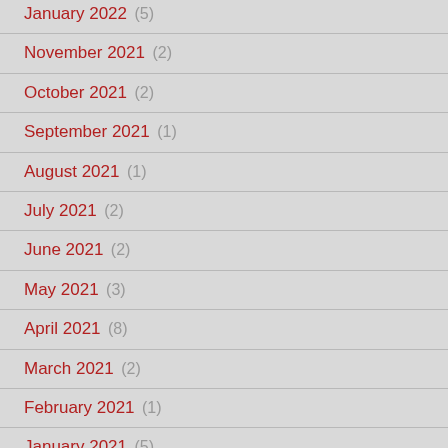January 2022 (5)
November 2021 (2)
October 2021 (2)
September 2021 (1)
August 2021 (1)
July 2021 (2)
June 2021 (2)
May 2021 (3)
April 2021 (8)
March 2021 (2)
February 2021 (1)
January 2021 (5)
November 2020 (7)